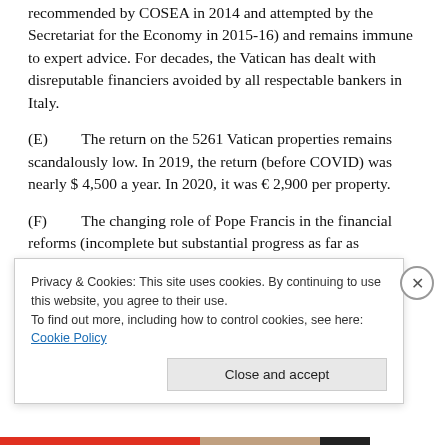recommended by COSEA in 2014 and attempted by the Secretariat for the Economy in 2015-16) and remains immune to expert advice. For decades, the Vatican has dealt with disreputable financiers avoided by all respectable bankers in Italy.
(E)    The return on the 5261 Vatican properties remains scandalously low. In 2019, the return (before COVID) was nearly $ 4,500 a year. In 2020, it was € 2,900 per property.
(F)    The changing role of Pope Francis in the financial reforms (incomplete but substantial progress as far as
Privacy & Cookies: This site uses cookies. By continuing to use this website, you agree to their use.
To find out more, including how to control cookies, see here: Cookie Policy
Close and accept